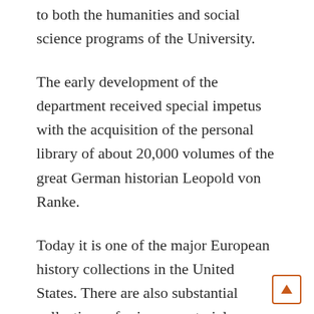to both the humanities and social science programs of the University.
The early development of the department received special impetus with the acquisition of the personal library of about 20,000 volumes of the great German historian Leopold von Ranke.
Today it is one of the major European history collections in the United States. There are also substantial collections of primary materials dealing with the history of East Africa, the United Kingdom, and the United States.